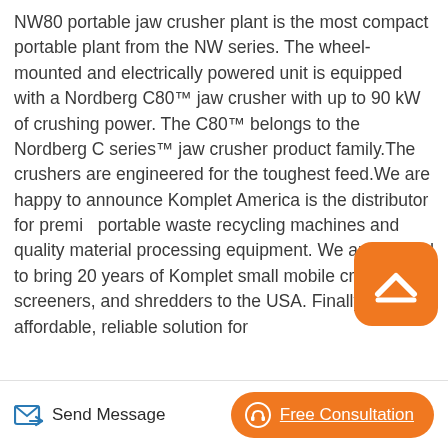NW80 portable jaw crusher plant is the most compact portable plant from the NW series. The wheel-mounted and electrically powered unit is equipped with a Nordberg C80™ jaw crusher with up to 90 kW of crushing power. The C80™ belongs to the Nordberg C series™ jaw crusher product family.The crushers are engineered for the toughest feed.We are happy to announce Komplet America is the distributor for premi… portable waste recycling machines and quality material processing equipment. We are excited to bring 20 years of Komplet small mobile crushers, screeners, and shredders to the USA. Finally an affordable, reliable solution for
Send Message | Free Consultation